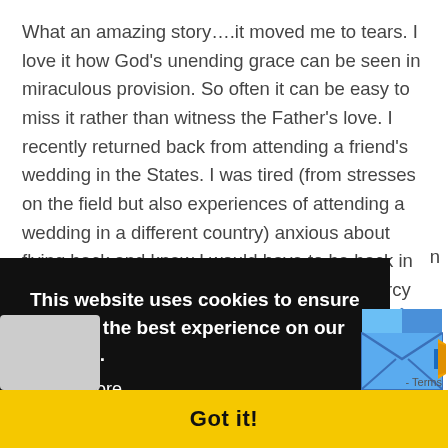What an amazing story….it moved me to tears. I love it how God's unending grace can be seen in miraculous provision. So often it can be easy to miss it rather than witness the Father's love. I recently returned back from attending a friend's wedding in the States. I was tired (from stresses on the field but also experiences of attending a wedding in a different country) anxious about flying back and knew I would have to be back in the classroom the next day. Out of God's mercy (because that is the only way I can explain it) I got a whole row to myself during
[Figure (screenshot): Cookie consent overlay with black background showing 'This website uses cookies to ensure you get the best experience on our website. Learn more' text, a yellow 'Got it!' button bar at the bottom, and a blue email/mail icon widget at the bottom right.]